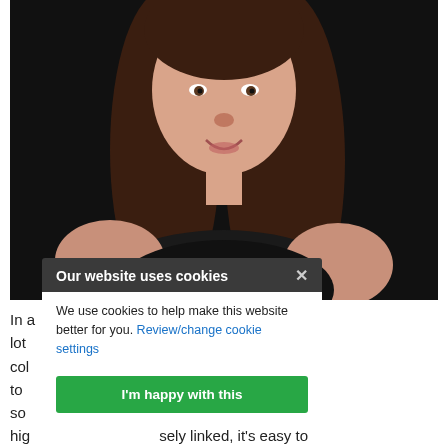[Figure (photo): Portrait photo of a woman with long brown hair, wearing a black sleeveless top, smiling, against a dark background. A cookie consent banner overlays the lower portion of the photo.]
In ... me face to face with lot ... artment of Health's col ... osal is a helpful way to ... reams, but when so ... s clinical waste and hig ... sely linked, it's easy to